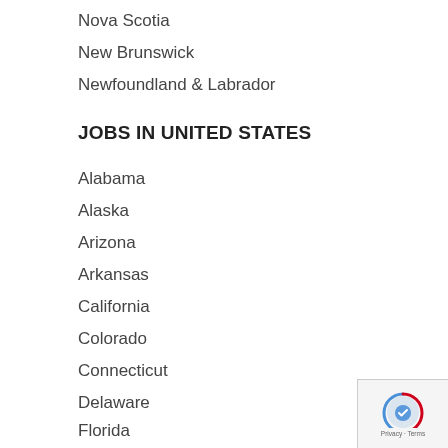Nova Scotia
New Brunswick
Newfoundland & Labrador
JOBS IN UNITED STATES
Alabama
Alaska
Arizona
Arkansas
California
Colorado
Connecticut
Delaware
Florida
Georgia
Hawaii